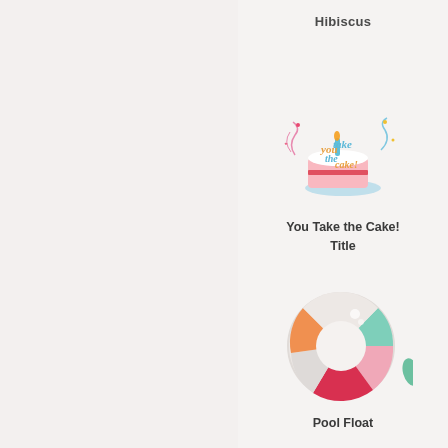Hibiscus
[Figure (illustration): Colorful cake illustration with text 'You take the cake!' in stylized lettering with decorative stars and swirls]
You Take the Cake!
Title
[Figure (illustration): Colorful pool float / ring illustration with sections in mint green, pink, orange, red, and white/gray]
Pool Float